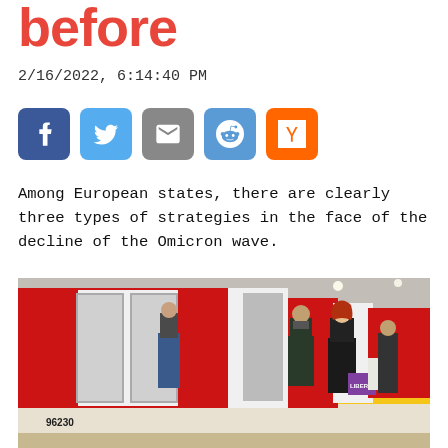before
2/16/2022, 6:14:40 PM
[Figure (infographic): Social sharing buttons: Facebook (blue), Twitter (light blue), Email (grey), Reddit (blue), Hacker News Y (orange)]
Among European states, there are clearly three types of strategies in the face of the decline of the Omicron wave.
[Figure (photo): London Underground tube station platform with passengers boarding a red and white tube train. A man in a dark jacket wearing a face mask stands near the doors. A woman with red hair carries a purple Liberty shopping bag. Train number 96230 is visible on the front car.]